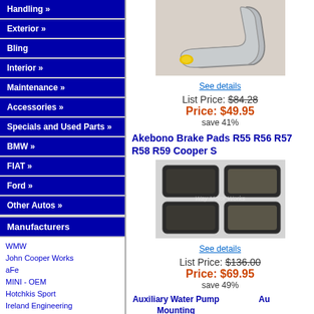Handling »
Exterior »
Bling
Interior »
Maintenance »
Accessories »
Specials and Used Parts »
BMW »
FIAT »
Ford »
Other Autos »
Manufacturers
WMW
John Cooper Works
aFe
MINI - OEM
Hotchkis Sport
Ireland Engineering
M7 Tuning
CravenSpeed
Alta Mini Performance
DDM Works
Akrapovic
H&R
Milltek
Megan Racing
[Figure (photo): Metal pipe/hose part for MINI Cooper]
See details
List Price: $84.28
Price: $49.95
save 41%
Akebono Brake Pads R55 R56 R57 R58 R59 Cooper S
[Figure (photo): Akebono brake pads set of four - Way Motor Works]
See details
List Price: $136.00
Price: $69.95
save 49%
Auxiliary Water Pump Mounting Bolts R55 R56 R57 R58 R59 R60 R61